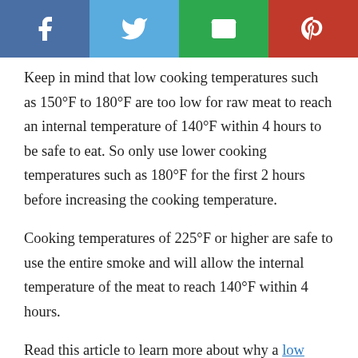[Figure (other): Social sharing bar with Facebook, Twitter, Email, and Pinterest buttons]
Keep in mind that low cooking temperatures such as 150°F to 180°F are too low for raw meat to reach an internal temperature of 140°F within 4 hours to be safe to eat. So only use lower cooking temperatures such as 180°F for the first 2 hours before increasing the cooking temperature.
Cooking temperatures of 225°F or higher are safe to use the entire smoke and will allow the internal temperature of the meat to reach 140°F within 4 hours.
Read this article to learn more about why a low cooking temperature of 180°F cannot be used to